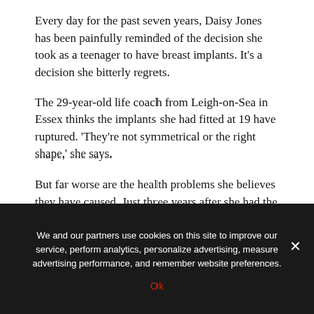Every day for the past seven years, Daisy Jones has been painfully reminded of the decision she took as a teenager to have breast implants. It’s a decision she bitterly regrets.
The 29-year-old life coach from Leigh-on-Sea in Essex thinks the implants she had fitted at 19 have ruptured. ‘They’re not symmetrical or the right shape,’ she says.
But far worse are the health problems she believes they have caused. Just three years after she had the surgery, Daisy developed ‘all sorts of pain and strange symptoms of fatigue’.
She says: ‘At first the doctors thought it was diabetes but it wasn’t. I’ve now got a list of things wrong with me —
We and our partners use cookies on this site to improve our service, perform analytics, personalize advertising, measure advertising performance, and remember website preferences.
Ok